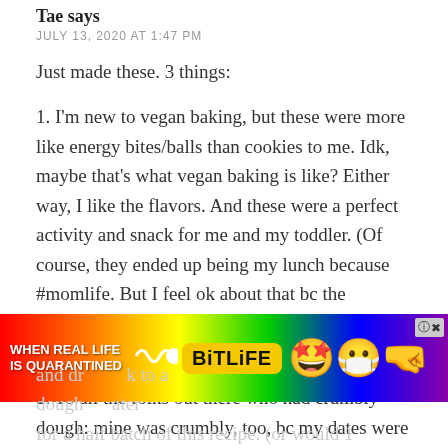Tae says
JULY 13, 2020 AT 1:47 PM
Just made these. 3 things:
1. I'm new to vegan baking, but these were more like energy bites/balls than cookies to me. Idk, maybe that's what vegan baking is like? Either way, I like the flavors. And these were a perfect activity and snack for me and my toddler. (Of course, they ended up being my lunch because #momlife. But I feel ok about that bc the ingredients mean I won't have a sugar crash in like 40 min.)
2. To all the folks out there who had crumbly dough: mine was crumbly, too, bc my dates were a little old and dry. I just kept squeezing/kneading it back to a dough-like consistency. I'll prob update later for a half batch of this recipe. (or would 1/3 of the...
[Figure (infographic): Advertisement banner for BitLife mobile game with rainbow background, text 'WHEN REAL LIFE IS QUARANTINED' with wave graphic and BitLife logo in yellow, emoji characters with star eyes and mask]